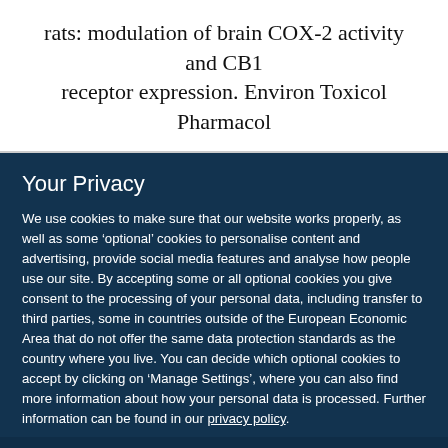rats: modulation of brain COX-2 activity and CB1 receptor expression. Environ Toxicol Pharmacol
Your Privacy
We use cookies to make sure that our website works properly, as well as some ‘optional’ cookies to personalise content and advertising, provide social media features and analyse how people use our site. By accepting some or all optional cookies you give consent to the processing of your personal data, including transfer to third parties, some in countries outside of the European Economic Area that do not offer the same data protection standards as the country where you live. You can decide which optional cookies to accept by clicking on ‘Manage Settings’, where you can also find more information about how your personal data is processed. Further information can be found in our privacy policy.
Accept all cookies
Manage preferences